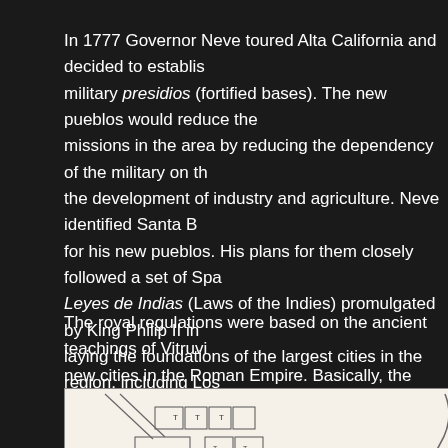In 1777 Governor Neve toured Alta California and decided to establish military presidios (fortified bases). The new pueblos would reduce the missions in the area by reducing the dependency of the military on the development of industry and agriculture. Neve identified Santa Barbara for his new pueblos. His plans for them closely followed a set of Spanish Leyes de Indias (Laws of the Indies) promulgated by King Philip II in laying the foundations of the largest cities in the region, including Los Antonio—as well as Sonoma, Monterey, Santa Fe, San Jose, and La...
The royal regulations were based on the ancient teachings of Vitruvius on new cities in the Roman Empire. Basically, the Spanish laws called for a fortified church, administrative buildings, and streets laid out in a grid used for farming and residences. It was in accordance with such precedents the pueblo of San José de Guadalupe, California's first municipality, on November 1777.
[Figure (map): Historical map/diagram showing layout of an early Spanish pueblo settlement with grid street patterns, building blocks, and a river or waterway feature shown with curved lines on the right side.]